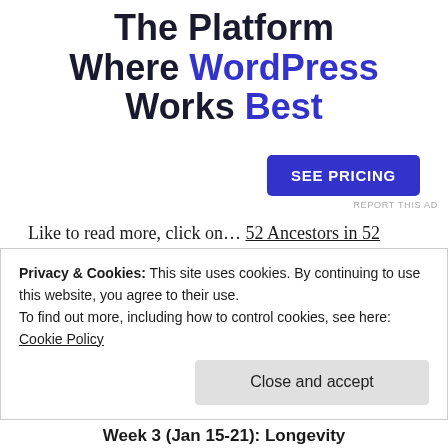The Platform Where WordPress Works Best
[Figure (other): Blue 'SEE PRICING' button (advertisement CTA)]
REPORT THIS AD
Like to read more, click on... 52 Ancestors in 52 Weeks
© 2018, copyright Jeanne Bryan Insalaco; all rights
Privacy & Cookies: This site uses cookies. By continuing to use this website, you agree to their use.
To find out more, including how to control cookies, see here: Cookie Policy
Close and accept
Week 3 (Jan 15-21): Longevity